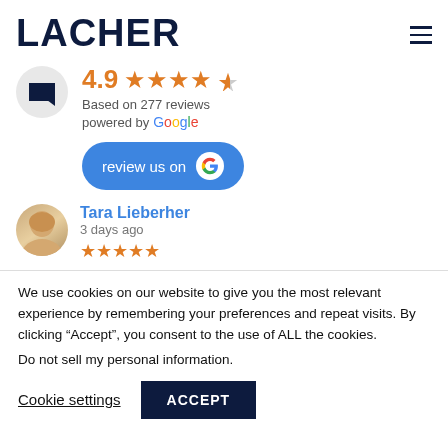LACHER
4.9 ★★★★½ Based on 277 reviews powered by Google
[Figure (other): Blue 'review us on Google' button with Google G logo]
Tara Lieberher
3 days ago
★★★★★
We use cookies on our website to give you the most relevant experience by remembering your preferences and repeat visits. By clicking "Accept", you consent to the use of ALL the cookies.
Do not sell my personal information.
Cookie settings   ACCEPT